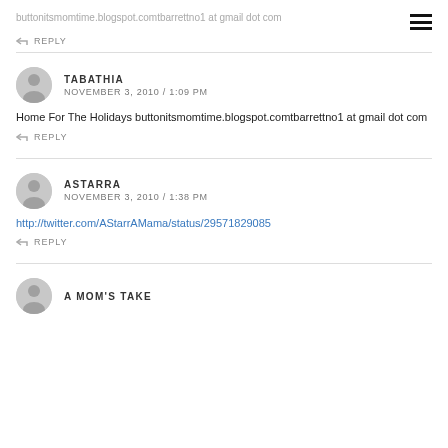buttonitsmomtime.blogspot.comtbarrettno1 at gmail dot com
REPLY
TABATHIA
NOVEMBER 3, 2010 / 1:09 PM
Home For The Holidays buttonitsmomtime.blogspot.comtbarrettno1 at gmail dot com
REPLY
ASTARRA
NOVEMBER 3, 2010 / 1:38 PM
http://twitter.com/AStarrAMama/status/29571829085
REPLY
A MOM'S TAKE